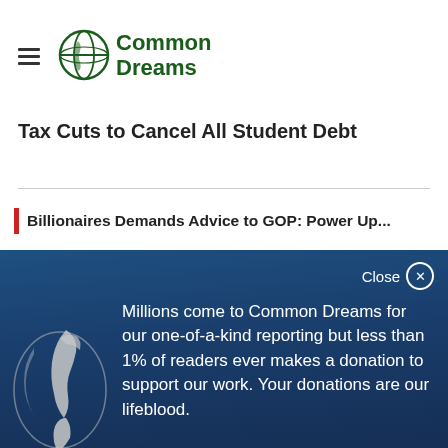[Figure (logo): Common Dreams logo with globe icon and green text]
Tax Cuts to Cancel All Student Debt
Billionaires Demands Advice to GOP: Power Up...
Millions come to Common Dreams for our one-of-a-kind reporting but less than 1% of readers ever makes a donation to support our work. Your donations are our lifeblood.
DONATE NOW